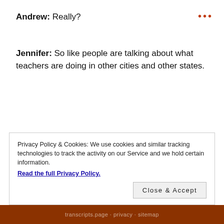Andrew: Really?
Jennifer: So like people are talking about what teachers are doing in other cities and other states.
Jennifer: Right.
Andrew: And I definitely think we have some
Privacy Policy & Cookies: We use cookies and similar tracking technologies to track the activity on our Service and we hold certain information.
Read the full Privacy Policy.
Close & Accept